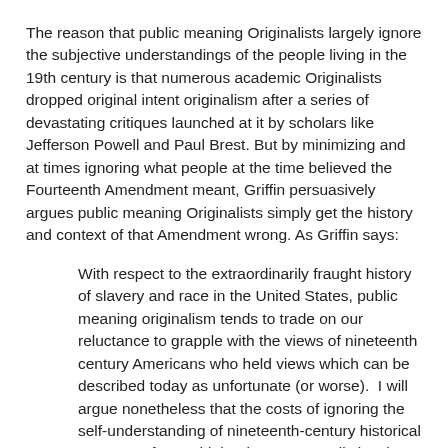The reason that public meaning Originalists largely ignore the subjective understandings of the people living in the 19th century is that numerous academic Originalists dropped original intent originalism after a series of devastating critiques launched at it by scholars like Jefferson Powell and Paul Brest. But by minimizing and at times ignoring what people at the time believed the Fourteenth Amendment meant, Griffin persuasively argues public meaning Originalists simply get the history and context of that Amendment wrong. As Griffin says:
With respect to the extraordinarily fraught history of slavery and race in the United States, public meaning originalism tends to trade on our reluctance to grapple with the views of nineteenth century Americans who held views which can be described today as unfortunate (or worse).  I will argue nonetheless that the costs of ignoring the self-understanding of nineteenth-century historical actors are far too high. They necessarily involve an equally questionable